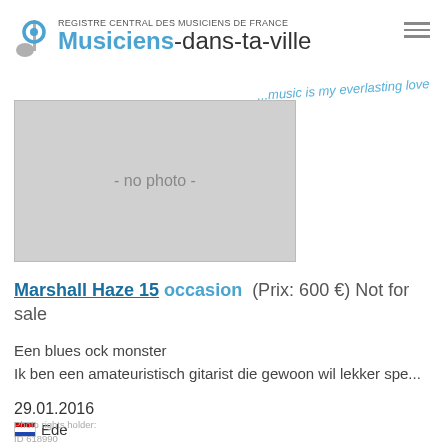REGISTRE CENTRAL DES MUSICIENS DE FRANCE
Musiciens-dans-ta-ville
...music is my everlasting love
[Figure (photo): No photo placeholder box with text '- no photo -']
Marshall Haze 15 occasion  (Prix: 600 €) Not for sale
Een blues ock monster
Ik ben een amateuristisch gitarist die gewoon wil lekker spe...
29.01.2016
Ede
Photo rights holder:
ID 618990